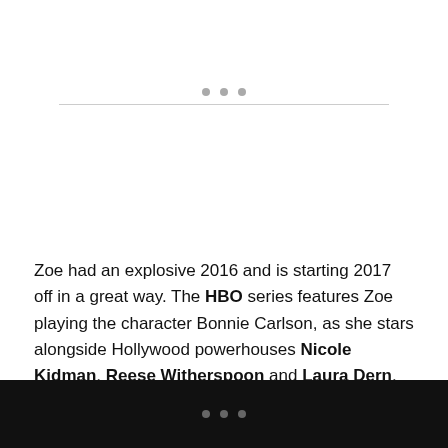[Figure (other): Three dots navigation indicator above a horizontal divider line]
Zoe had an explosive 2016 and is starting 2017 off in a great way. The HBO series features Zoe playing the character Bonnie Carlson, as she stars alongside Hollywood powerhouses Nicole Kidman, Reese Witherspoon and Laura Dern.
[Figure (other): Three dots navigation indicator on dark/black background bar at page bottom]